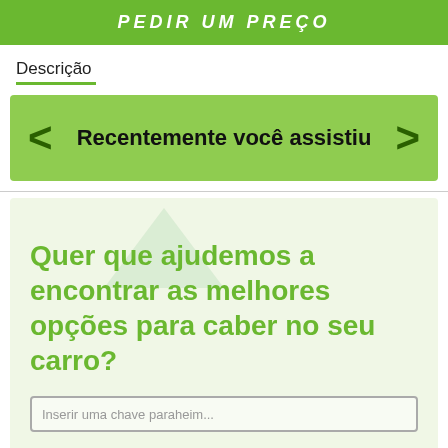PEDIR UM PREÇO
Descrição
[Figure (screenshot): Carousel element with left and right arrows and bold text 'Recentemente você assistiu' on a green background]
[Figure (infographic): Promotional section with light green background, watermark triangle, bold green text 'Quer que ajudemos a encontrar as melhores opções para caber no seu carro?' and a text input placeholder]